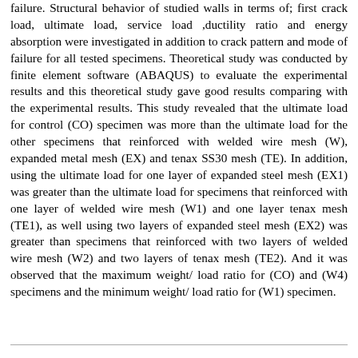failure. Structural behavior of studied walls in terms of; first crack load, ultimate load, service load ,ductility ratio and energy absorption were investigated in addition to crack pattern and mode of failure for all tested specimens. Theoretical study was conducted by finite element software (ABAQUS) to evaluate the experimental results and this theoretical study gave good results comparing with the experimental results. This study revealed that the ultimate load for control (CO) specimen was more than the ultimate load for the other specimens that reinforced with welded wire mesh (W), expanded metal mesh (EX) and tenax SS30 mesh (TE). In addition, using the ultimate load for one layer of expanded steel mesh (EX1) was greater than the ultimate load for specimens that reinforced with one layer of welded wire mesh (W1) and one layer tenax mesh (TE1), as well using two layers of expanded steel mesh (EX2) was greater than specimens that reinforced with two layers of welded wire mesh (W2) and two layers of tenax mesh (TE2). And it was observed that the maximum weight/ load ratio for (CO) and (W4) specimens and the minimum weight/ load ratio for (W1) specimen.